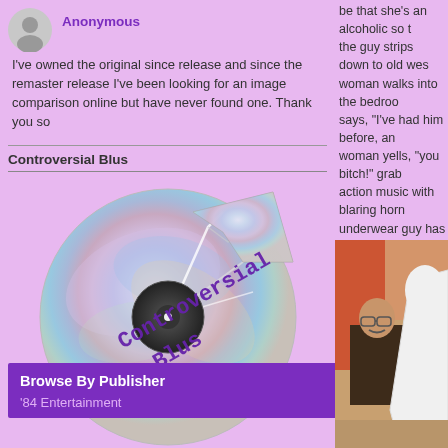Anonymous
I've owned the original since release and since the remaster release I've been looking for an image comparison online but have never found one. Thank you so
Controversial Blus
[Figure (logo): A broken/cracked Blu-ray disc with the text 'Controversial Blus' written across it in purple stamp-style font]
Browse By Publisher
'84 Entertainment
be that she's an alcoholic so the guy strips down to old wes woman walks into the bedroom says, "I've had him before, and woman yells, "you bitch!" grab action music with blaring horns underwear guy has just quietly the two fighting women's robes of way, and the fight stops and And the third woman says, "wh the room. End scene. And nom whatsoever. Did I mention that
[Figure (photo): A man in a dark jacket sitting against a wall next to a figure in a white robe/sheet, from what appears to be a movie scene]